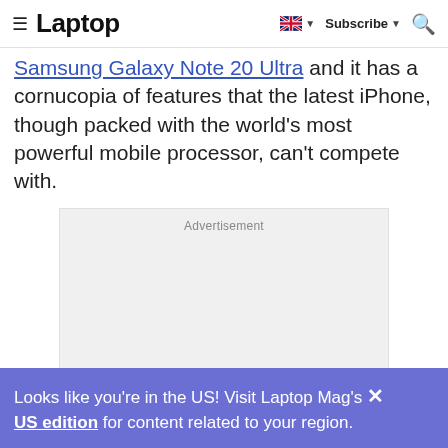Laptop — Subscribe
Samsung Galaxy Note 20 Ultra and it has a cornucopia of features that the latest iPhone, though packed with the world's most powerful mobile processor, can't compete with.
[Figure (other): Advertisement placeholder box with light gray background]
Looks like you're in the US! Visit Laptop Mag's US edition for content related to your region.